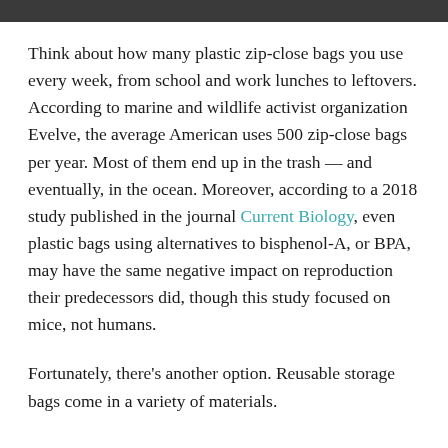Think about how many plastic zip-close bags you use every week, from school and work lunches to leftovers. According to marine and wildlife activist organization Evelve, the average American uses 500 zip-close bags per year. Most of them end up in the trash — and eventually, in the ocean. Moreover, according to a 2018 study published in the journal Current Biology, even plastic bags using alternatives to bisphenol-A, or BPA, may have the same negative impact on reproduction their predecessors did, though this study focused on mice, not humans.
Fortunately, there's another option. Reusable storage bags come in a variety of materials.